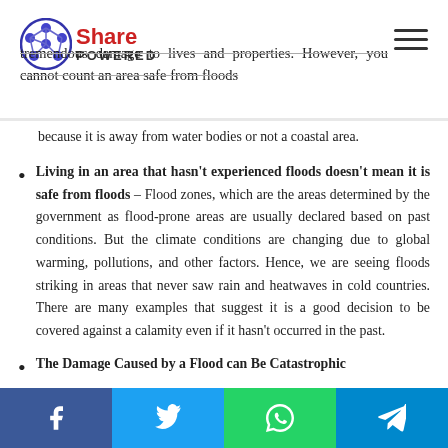Share Powered
tremendous damage to lives and properties. However, you cannot count an area safe from floods because it is away from water bodies or not a coastal area.
Living in an area that hasn't experienced floods doesn't mean it is safe from floods – Flood zones, which are the areas determined by the government as flood-prone areas are usually declared based on past conditions. But the climate conditions are changing due to global warming, pollutions, and other factors. Hence, we are seeing floods striking in areas that never saw rain and heatwaves in cold countries. There are many examples that suggest it is a good decision to be covered against a calamity even if it hasn't occurred in the past.
The Damage Caused by a Flood can Be Catastrophic
Share buttons: Facebook, Twitter, WhatsApp, Telegram